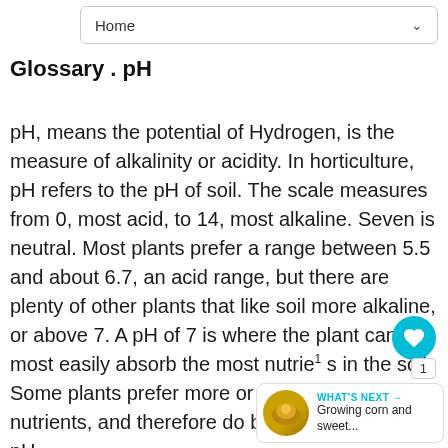Home
Glossary . pH
pH, means the potential of Hydrogen, is the measure of alkalinity or acidity. In horticulture, pH refers to the pH of soil. The scale measures from 0, most acid, to 14, most alkaline. Seven is neutral. Most plants prefer a range between 5.5 and about 6.7, an acid range, but there are plenty of other plants that like soil more alkaline, or above 7. A pH of 7 is where the plant can most easily absorb the most nutrients in the soil. Some plants prefer more or less certain nutrients, and therefore do better at a certain pH.